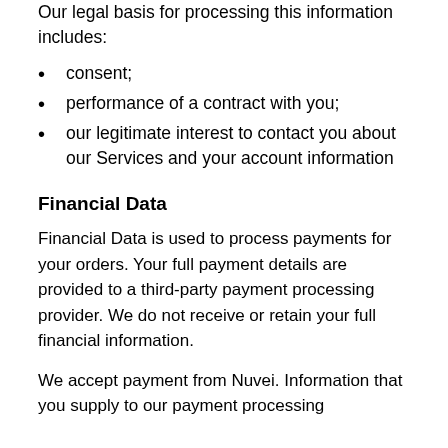Our legal basis for processing this information includes:
consent;
performance of a contract with you;
our legitimate interest to contact you about our Services and your account information
Financial Data
Financial Data is used to process payments for your orders. Your full payment details are provided to a third-party payment processing provider. We do not receive or retain your full financial information.
We accept payment from Nuvei. Information that you supply to our payment processing